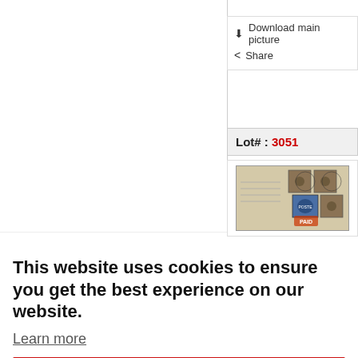[Figure (photo): Left panel showing a white/blank image area for a stamp or philatelic item]
⬇ Download main picture
< Share
Lot# : 3051
[Figure (photo): Thumbnail image of a philatelic cover with stamps including a blue stamp and brown stamps]
This website uses cookies to ensure you get the best experience on our website.
Learn more
Ok